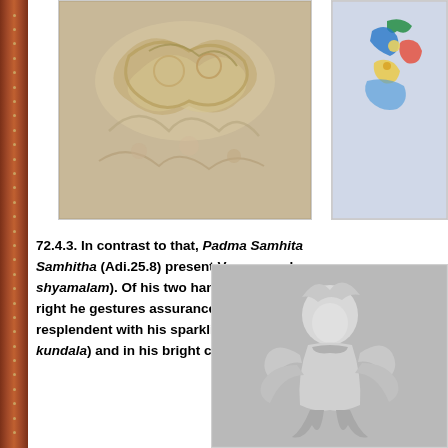[Figure (photo): Stone carving with ornate floral and serpentine relief sculpture in beige/tan tones]
[Figure (photo): Colorful painted or illustrated figure of a deity, partially visible at top right]
72.4.3. In contrast to that, Padma Samhitha Samhitha (Adi.25.8) present Varuna as d... shyamalam). Of his two hands he holds in the l... right he gestures assurance (abhaya pra... resplendent with his sparkling earrings in t... kundala) and in his bright crown modest sized
[Figure (photo): Black and white photograph of a multi-armed deity statue/sculpture wearing crown and ornaments]